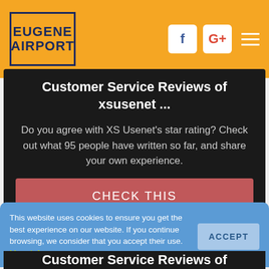[Figure (logo): Eugene Airport logo with dark blue text on orange background with dark border]
Customer Service Reviews of xsusenet ...
Do you agree with XS Usenet's star rating? Check out what 95 people have written so far, and share your own experience.
CHECK THIS
This website uses cookies to ensure you get the best experience on our website. If you continue browsing, we consider that you accept their use. More Info
Customer Service Reviews of